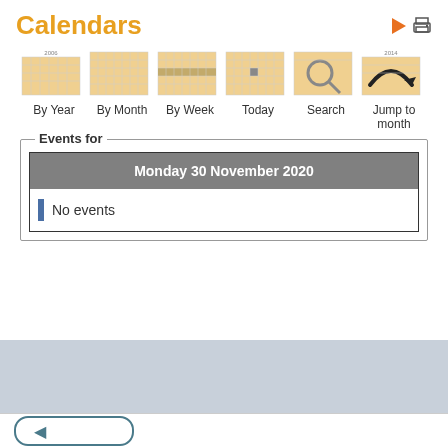Calendars
[Figure (screenshot): Six calendar view icons: By Year, By Month, By Week, Today, Search, Jump to month]
By Year   By Month   By Week   Today   Search   Jump to month
Events for
Monday 30 November 2020
No events